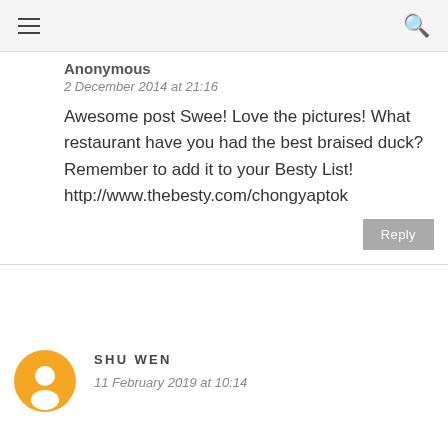≡  🔍
Anonymous
2 December 2014 at 21:16
Awesome post Swee! Love the pictures! What restaurant have you had the best braised duck? Remember to add it to your Besty List! http://www.thebesty.com/chongyaptok
Reply
SHU WEN
11 February 2019 at 10:14